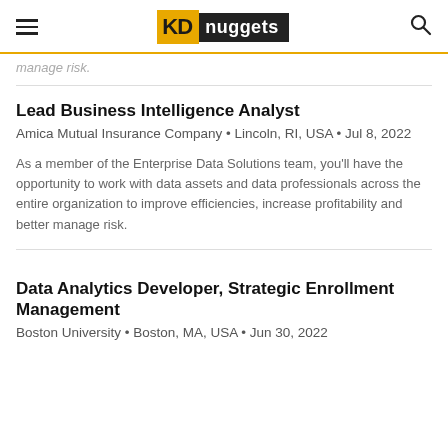KD nuggets
manage risk.
Lead Business Intelligence Analyst
Amica Mutual Insurance Company • Lincoln, RI, USA • Jul 8, 2022
As a member of the Enterprise Data Solutions team, you'll have the opportunity to work with data assets and data professionals across the entire organization to improve efficiencies, increase profitability and better manage risk.
Data Analytics Developer, Strategic Enrollment Management
Boston University • Boston, MA, USA • Jun 30, 2022